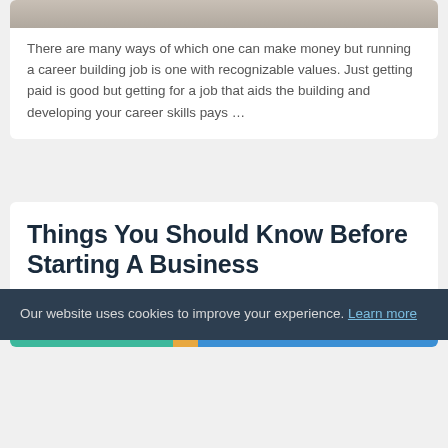There are many ways of which one can make money but running a career building job is one with recognizable values.  Just getting paid is good but getting for a job that aids the building and developing your career skills pays …
Things You Should Know Before Starting A Business
by Mr Digg W · August 21, 2022
Our website uses cookies to improve your experience. Learn more